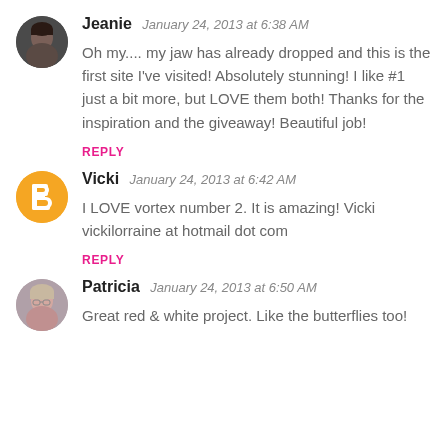Jeanie  January 24, 2013 at 6:38 AM
Oh my.... my jaw has already dropped and this is the first site I've visited! Absolutely stunning! I like #1 just a bit more, but LOVE them both! Thanks for the inspiration and the giveaway! Beautiful job!
REPLY
Vicki  January 24, 2013 at 6:42 AM
I LOVE vortex number 2. It is amazing! Vicki vickilorraine at hotmail dot com
REPLY
Patricia  January 24, 2013 at 6:50 AM
Great red & white project. Like the butterflies too!